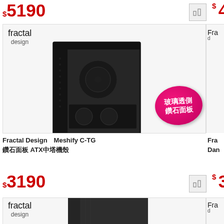$5190
[Figure (photo): Fractal Design Meshify C-TG computer case with glass side panel and diamond front panel badge, shown on product listing page]
Fractal Design　Meshify C-TG　鑽石面板 ATX中塔機殼
$3190
[Figure (photo): Fractal Design computer case (second product) shown on product listing page, partial view]